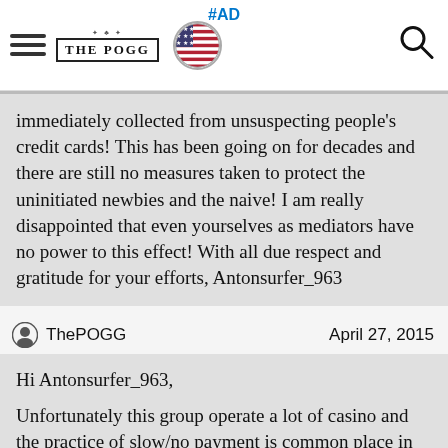#AD — ThePOGG website header with hamburger menu, logo, US flag, and search icon
immediately collected from unsuspecting people's credit cards! This has been going on for decades and there are still no measures taken to protect the uninitiated newbies and the naive! I am really disappointed that even yourselves as mediators have no power to this effect! With all due respect and gratitude for your efforts, Antonsurfer_963
ThePOGG    April 27, 2015
Hi Antonsurfer_963,

Unfortunately this group operate a lot of casino and the practice of slow/no payment is common place in their history and complaints are widely available on most large gambling community sites. They do not hold a gambling and pay no attention